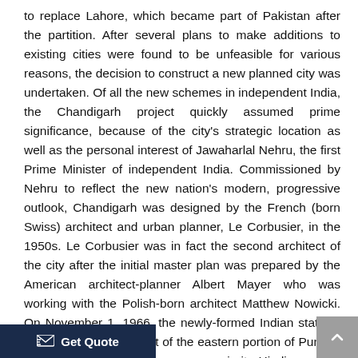to replace Lahore, which became part of Pakistan after the partition. After several plans to make additions to existing cities were found to be unfeasible for various reasons, the decision to construct a new planned city was undertaken. Of all the new schemes in independent India, the Chandigarh project quickly assumed prime significance, because of the city's strategic location as well as the personal interest of Jawaharlal Nehru, the first Prime Minister of independent India. Commissioned by Nehru to reflect the new nation's modern, progressive outlook, Chandigarh was designed by the French (born Swiss) architect and urban planner, Le Corbusier, in the 1950s. Le Corbusier was in fact the second architect of the city after the initial master plan was prepared by the American architect-planner Albert Mayer who was working with the Polish-born architect Matthew Nowicki. On November 1, 1966, the newly-formed Indian state of Haryana was carved out of the eastern portion of Punjab, in order to create Haryana as a majority Hindi-speaking state (with a Hindu majority), while the western portion of Punjab retained a mostly Punjabi-speaking majority (with a Sikh majority).